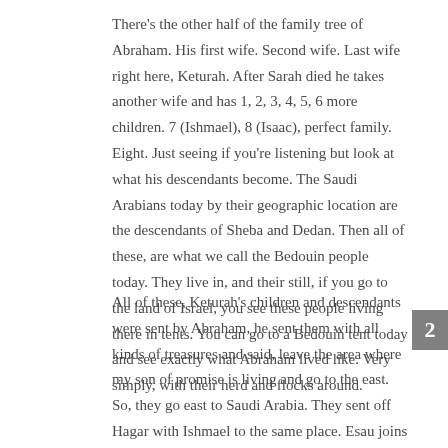There's the other half of the family tree of Abraham. His first wife. Second wife. Last wife right here, Keturah. After Sarah died he takes another wife and has 1, 2, 3, 4, 5, 6 more children. 7 (Ishmael), 8 (Isaac), perfect family. Eight. Just seeing if you're listening but look at what his descendants become. The Saudi Arabians today by their geographic location are the descendants of Sheba and Dedan. Then all of these, are what we call the Bedouin people today. They live in, and their still, if you go to the land of Israel, you see these people living there in tents. You can go to a Bedouin tent today and see exactly what Abraham lived like. Very simply, with their herd and flocks around.
All of these, Keturah's children and descendants were sent by Abraham, he sent them with all kinds of treasures and said, leave the area where my son of promise is living and go to the east. So, they go east to Saudi Arabia. They sent off Hagar with Ishmael to the same place. Esau joins him and intermarries along with this nephew Lot who had the Midianites. Lot had